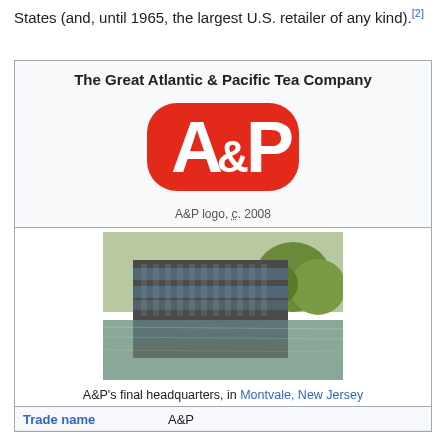States (and, until 1965, the largest U.S. retailer of any kind).[2]
The Great Atlantic & Pacific Tea Company
[Figure (logo): A&P logo, a red rounded-rectangle badge with white A&P lettering]
A&P logo, c. 2008
[Figure (photo): A&P's final headquarters building reflected in a pond, surrounded by trees in autumn, in Montvale, New Jersey]
A&P's final headquarters, in Montvale, New Jersey
| Trade name |  |
| --- | --- |
| Trade name | A&P |